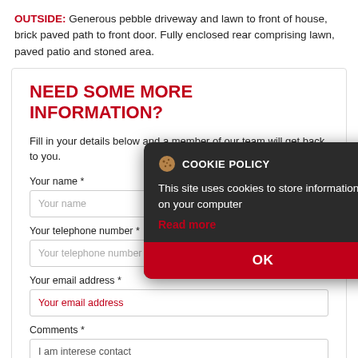OUTSIDE: Generous pebble driveway and lawn to front of house, brick paved path to front door. Fully enclosed rear comprising lawn, paved patio and stoned area.
NEED SOME MORE INFORMATION?
Fill in your details below and a member of our team will get back to you.
Your name *
Your telephone number *
Your email address *
Comments *
I am interested in this property, please contact me about this property.
[Figure (screenshot): Cookie policy modal overlay on dark background. Header shows cookie icon and 'COOKIE POLICY' title. Body text: 'This site uses cookies to store information on your computer'. Red 'Read more' link. Large red 'OK' button at bottom.]